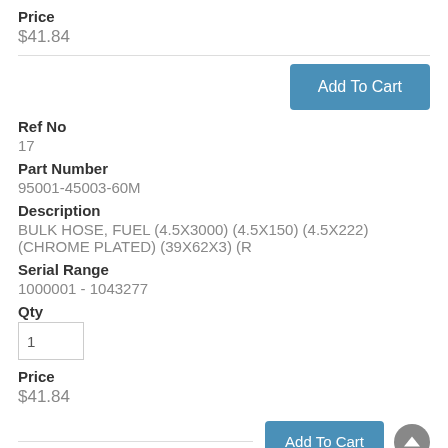Price
$41.84
[Figure (other): Add To Cart button (blue rectangle)]
Ref No
17
Part Number
95001-45003-60M
Description
BULK HOSE, FUEL (4.5X3000) (4.5X150) (4.5X222) (CHROME PLATED) (39X62X3) (R
Serial Range
1000001 - 1043277
Qty
Price
$41.84
[Figure (other): Add To Cart button (blue rectangle) at bottom]